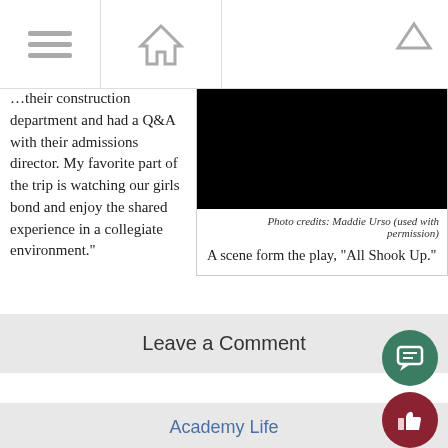department and had a Q&A with their admissions director. My favorite part of the trip is watching our girls bond and enjoy the shared experience in a collegiate environment."
[Figure (photo): Black rectangle representing a photo of a scene from the play]
Photo credits: Maddie Urso (used with permission)
A scene form the play, "All Shook Up."
Leave a Comment
Academy Life
[Figure (photo): Photo of Melissa Cox, a person smiling]
73 Questions with Melissa Cox